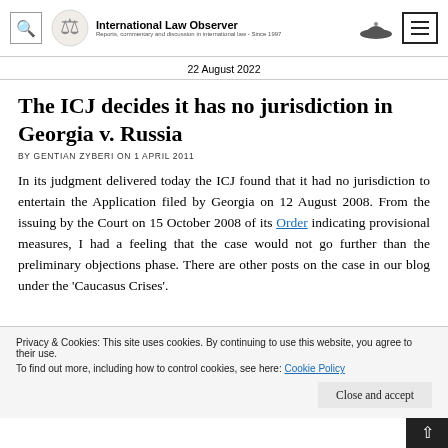International Law Observer — Reports, commentary and discussion in international law - Since 1997
22 August 2022
The ICJ decides it has no jurisdiction in Georgia v. Russia
BY GENTIAN ZYBERI ON 1 APRIL 2011
In its judgment delivered today the ICJ found that it had no jurisdiction to entertain the Application filed by Georgia on 12 August 2008. From the issuing by the Court on 15 October 2008 of its Order indicating provisional measures, I had a feeling that the case would not go further than the preliminary objections phase. There are other posts on the case in our blog under the 'Caucasus Crises'.
Privacy & Cookies: This site uses cookies. By continuing to use this website, you agree to their use. To find out more, including how to control cookies, see here: Cookie Policy
Close and accept